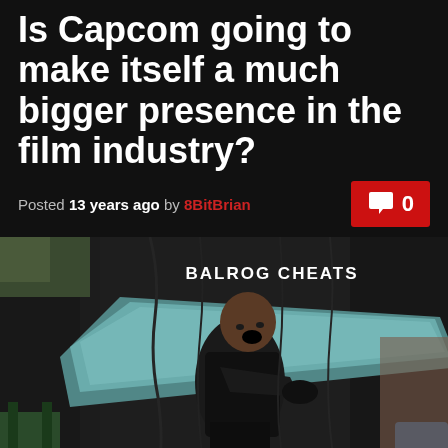Is Capcom going to make itself a much bigger presence in the film industry?
Posted 13 years ago by 8BitBrian
[Figure (photo): A man in black clothing with gloves performing a dramatic pose with a large teal/blue wing-like prop, outdoors on a film set or similar setting. Text 'BALROG CHEATS' appears in the upper right of the image.]